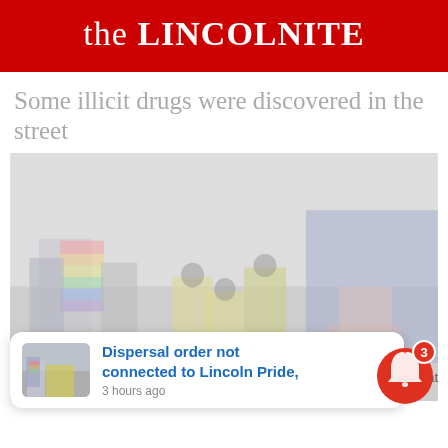the LINCOLNITE
Some illicit drugs were discovered in the street
[Figure (photo): Blurred/faded outdoor scene showing people in high-visibility police jackets and individuals with rainbow pride flags on a street. Multiple officers appear to be attending to someone on the ground.]
Dispersal order not connected to Lincoln Pride,
3 hours ago
nce routine at